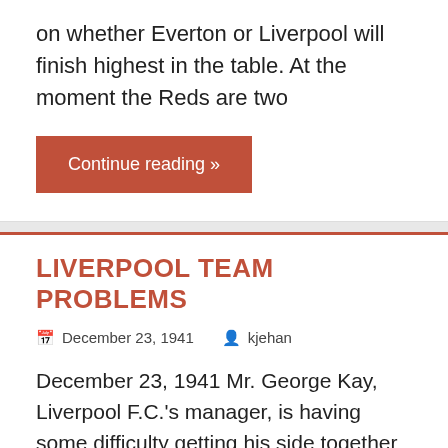on whether Everton or Liverpool will finish highest in the table. At the moment the Reds are two
Continue reading »
LIVERPOOL TEAM PROBLEMS
December 23, 1941   kjehan
December 23, 1941 Mr. George Kay, Liverpool F.C.'s manager, is having some difficulty getting his side together for the visit to Stoke on Christmas Day.
Continue reading »